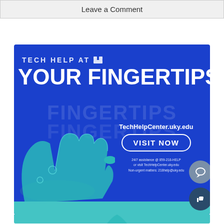Leave a Comment
[Figure (infographic): University of Kentucky Tech Help Center advertisement. Blue background with large white text 'TECH HELP AT YOUR FINGERTIPS'. Shows an illustrated teal hand reaching to tap a 'VISIT NOW' button. Website: TechHelpCenter.uky.edu. Small print: 24/7 assistance @ 859-218-HELP or visit TechHelpCenter.uky.edu. Non-urgent matters: 218help@uky.edu]